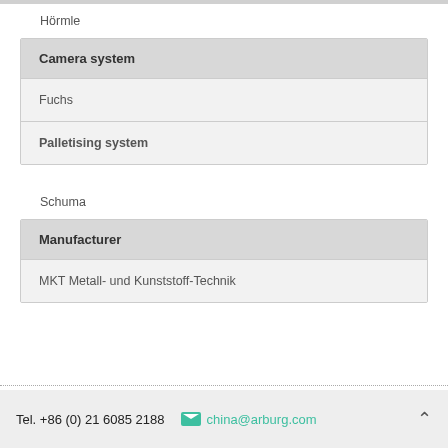Hörmle
| Camera system |
| --- |
| Fuchs |
| Palletising system |
Schuma
| Manufacturer |
| --- |
| MKT Metall- und Kunststoff-Technik |
Tel. +86 (0) 21 6085 2188   china@arburg.com